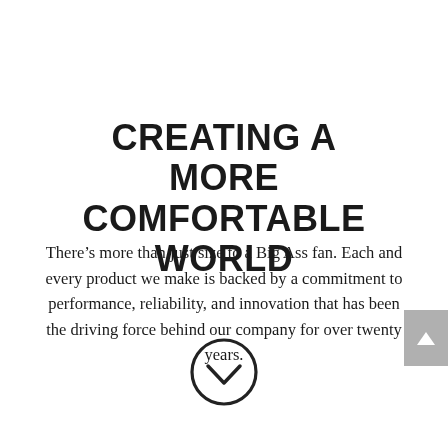CREATING A MORE COMFORTABLE WORLD
There’s more than just size to a Big Ass fan. Each and every product we make is backed by a commitment to performance, reliability, and innovation that has been the driving force behind our company for over twenty years.
[Figure (illustration): A circular down-chevron / scroll-down icon — a thin dark circle with a checkmark-style downward chevron inside it.]